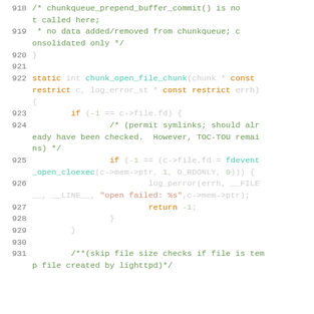Code listing lines 918-931, C source code for chunk_open_file_chunk function